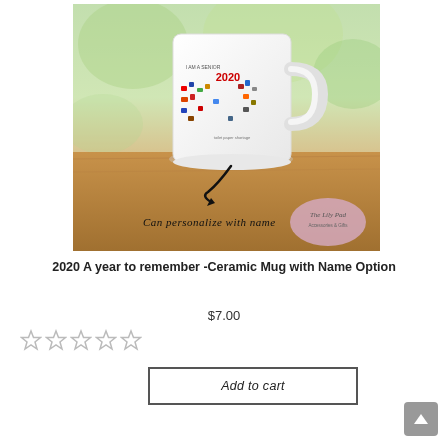[Figure (photo): Product photo of a white ceramic mug with '2020 A year to remember' heart-shaped design featuring various 2020 icons. Text at bottom reads 'Can personalize with name'. Pink oval logo for 'The Lily Pad Accessories & Gifts' in bottom right. Background shows blurred greenery and wooden table surface.]
2020 A year to remember -Ceramic Mug with Name Option
$7.00
[Figure (other): Five empty star rating icons (gray outlines, no fill)]
Add to cart